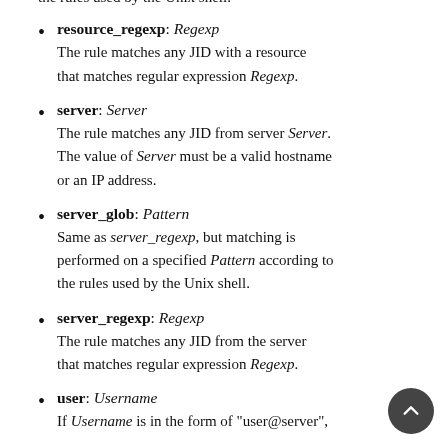resource_regexp: Regexp
The rule matches any JID with a resource that matches regular expression Regexp.
server: Server
The rule matches any JID from server Server. The value of Server must be a valid hostname or an IP address.
server_glob: Pattern
Same as server_regexp, but matching is performed on a specified Pattern according to the rules used by the Unix shell.
server_regexp: Regexp
The rule matches any JID from the server that matches regular expression Regexp.
user: Username
If Username is in the form of "user@server",